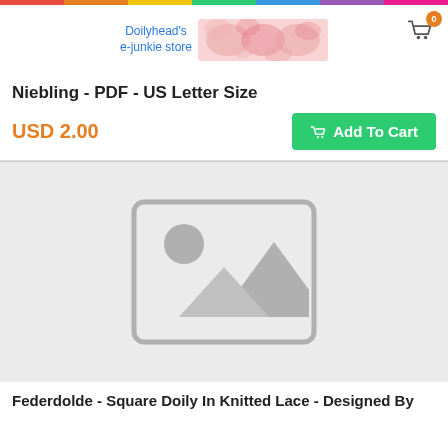Doilyhead's e-junkie store
Niebling - PDF - US Letter Size
USD 2.00
Add To Cart
[Figure (illustration): Placeholder image icon showing a landscape with mountains and sun inside a rounded rectangle, on a light gray background]
Federdolde - Square Doily In Knitted Lace - Designed By